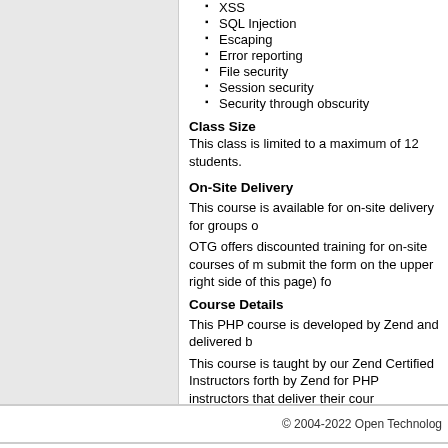XSS
SQL Injection
Escaping
Error reporting
File security
Session security
Security through obscurity
Class Size
This class is limited to a maximum of 12 students.
On-Site Delivery
This course is available for on-site delivery for groups o
OTG offers discounted training for on-site courses of m submit the form on the upper right side of this page) fo
Course Details
This PHP course is developed by Zend and delivered b
This course is taught by our Zend Certified Instructors forth by Zend for PHP instructors that deliver their cour
Instructional Materials
The following materials are used to deliver this course:
Zend Professional PHP Development Courseware
Enroll in this course
© 2004-2022 Open Technolog